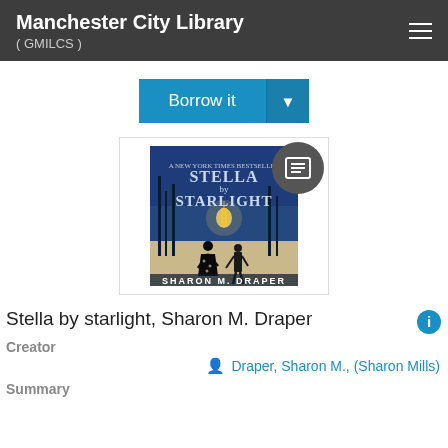Manchester City Library ( GMILCS )
[Figure (screenshot): Borrow it split button with dropdown arrow, blue background]
[Figure (illustration): Book cover of 'Stella by Starlight' by Sharon M. Draper, showing two silhouetted children at night with a blue background, with a circular grey book icon badge overlaid in top right]
Stella by starlight, Sharon M. Draper
Creator
Draper, Sharon M., (Sharon Mills)
Summary